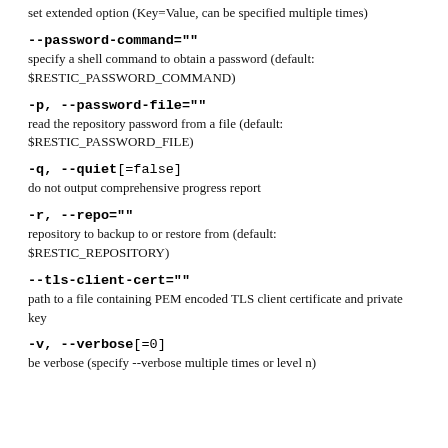set extended option (Key=Value, can be specified multiple times)
--password-command=""
specify a shell command to obtain a password (default: $RESTIC_PASSWORD_COMMAND)
-p, --password-file=""
read the repository password from a file (default: $RESTIC_PASSWORD_FILE)
-q, --quiet[=false]
do not output comprehensive progress report
-r, --repo=""
repository to backup to or restore from (default: $RESTIC_REPOSITORY)
--tls-client-cert=""
path to a file containing PEM encoded TLS client certificate and private key
-v, --verbose[=0]
be verbose (specify --verbose multiple times or level n)